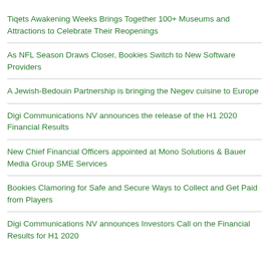Tiqets Awakening Weeks Brings Together 100+ Museums and Attractions to Celebrate Their Reopenings
As NFL Season Draws Closer, Bookies Switch to New Software Providers
A Jewish-Bedouin Partnership is bringing the Negev cuisine to Europe
Digi Communications NV announces the release of the H1 2020 Financial Results
New Chief Financial Officers appointed at Mono Solutions & Bauer Media Group SME Services
Bookies Clamoring for Safe and Secure Ways to Collect and Get Paid from Players
Digi Communications NV announces Investors Call on the Financial Results for H1 2020